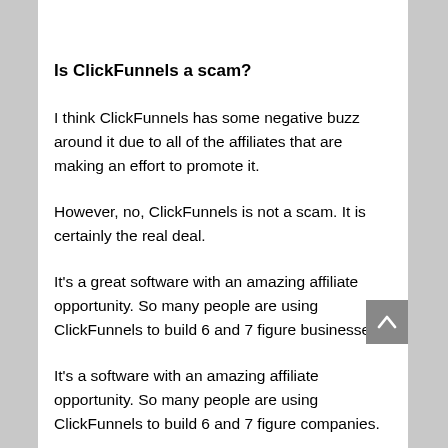Is ClickFunnels a scam?
I think ClickFunnels has some negative buzz around it due to all of the affiliates that are making an effort to promote it.
However, no, ClickFunnels is not a scam. It is certainly the real deal.
It's a great software with an amazing affiliate opportunity. So many people are using ClickFunnels to build 6 and 7 figure businesses.
It's a software with an amazing affiliate opportunity. So many people are using ClickFunnels to build 6 and 7 figure companies.